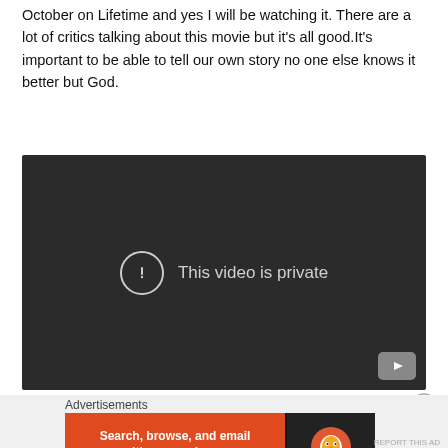October on Lifetime and yes I will be watching it. There are a lot of critics talking about this movie but it's all good.It's important to be able to tell our own story no one else knows it better but God.
[Figure (screenshot): Embedded YouTube video player showing 'This video is private' error message with exclamation icon circle and YouTube logo in bottom right corner. Dark background.]
[Figure (infographic): DuckDuckGo advertisement banner: orange left panel with text 'Search, browse, and email with more privacy. All in One Free App' and white button, dark right panel with DuckDuckGo logo and duck icon.]
Advertisements